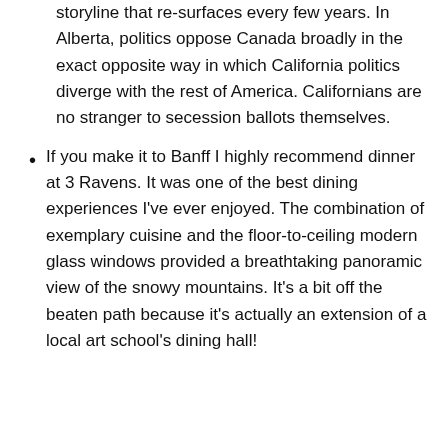storyline that re-surfaces every few years. In Alberta, politics oppose Canada broadly in the exact opposite way in which California politics diverge with the rest of America. Californians are no stranger to secession ballots themselves.
If you make it to Banff I highly recommend dinner at 3 Ravens. It was one of the best dining experiences I've ever enjoyed. The combination of exemplary cuisine and the floor-to-ceiling modern glass windows provided a breathtaking panoramic view of the snowy mountains. It's a bit off the beaten path because it's actually an extension of a local art school's dining hall!